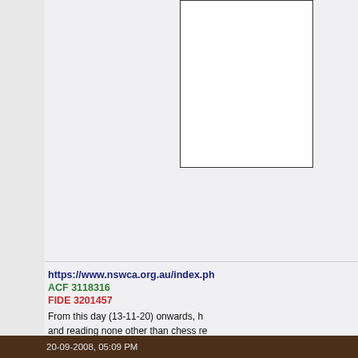[Figure (other): White bordered box, partially cropped on right side, occupying upper right portion of content area]
https://www.nswca.org.au/index.ph
ACF 3118316
FIDE 3201457
From this day (13-11-20) onwards, h
and reading none other than chess re
Fully vaccinated since October, 21, 2
20-09-2008, 05:09 PM